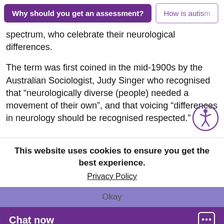Why should you get an assessment? | How is autism
spectrum, who celebrate their neurological differences.
The term was first coined in the mid-1900s by the Australian Sociologist, Judy Singer who recognised that “neurologically diverse (people) needed a movement of their own”, and that voicing “differences in neurology should be recognised respected.”
This website uses cookies to ensure you get the best experience.
Privacy Policy
Okay
Chat now